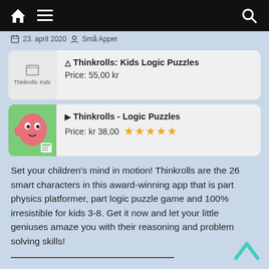Navigation bar with home, menu, and search icons
23. april 2020  Små Apper
Thinkrolls: Kids Logic Puzzles
Price: 55,00 kr
Thinkrolls - Logic Puzzles
Price: kr 38,00 ★★★★★
Set your children's mind in motion! Thinkrolls are the 26 smart characters in this award-winning app that is part physics platformer, part logic puzzle game and 100% irresistible for kids 3-8. Get it now and let your little geniuses amaze you with their reasoning and problem solving skills!
[Figure (illustration): Teal/turquoise upward chevron arrow (back to top button)]